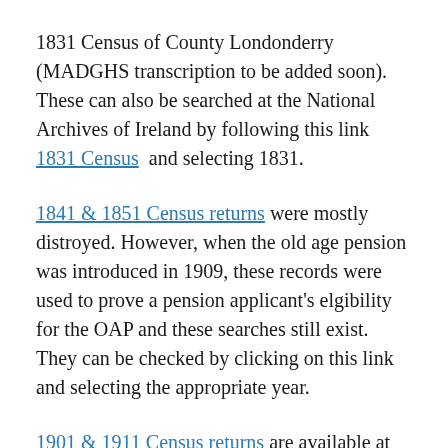1831 Census of County Londonderry (MADGHS transcription to be added soon). These can also be searched at the National Archives of Ireland by following this link 1831 Census and selecting 1831.
1841 & 1851 Census returns were mostly distroyed. However, when the old age pension was introduced in 1909, these records were used to prove a pension applicant's elgibility for the OAP and these searches still exist. They can be checked by clicking on this link and selecting the appropriate year.
1901 & 1911 Census returns are available at the